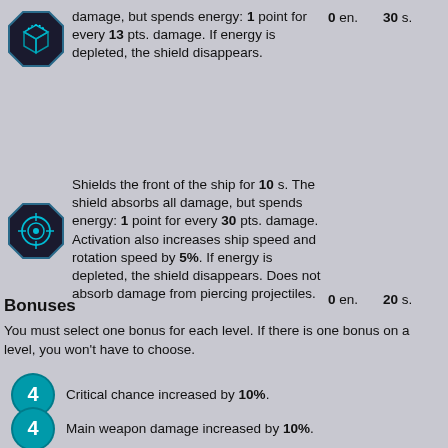damage, but spends energy: 1 point for every 13 pts. damage. If energy is depleted, the shield disappears.
0 en.   30 s.
Shields the front of the ship for 10 s. The shield absorbs all damage, but spends energy: 1 point for every 30 pts. damage. Activation also increases ship speed and rotation speed by 5%. If energy is depleted, the shield disappears. Does not absorb damage from piercing projectiles.
0 en.   20 s.
Bonuses
You must select one bonus for each level. If there is one bonus on a level, you won't have to choose.
Critical chance increased by 10%.
Main weapon damage increased by 10%.